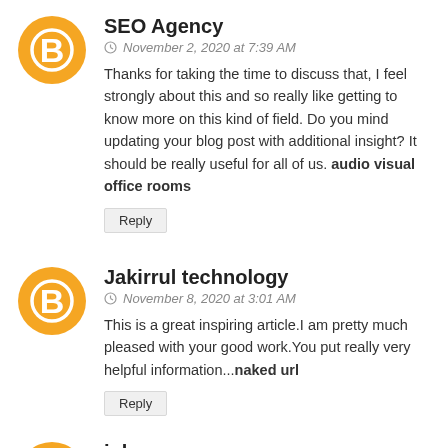[Figure (illustration): Orange circular blogger avatar icon with white B letter]
SEO Agency
November 2, 2020 at 7:39 AM
Thanks for taking the time to discuss that, I feel strongly about this and so really like getting to know more on this kind of field. Do you mind updating your blog post with additional insight? It should be really useful for all of us. audio visual office rooms
Reply
[Figure (illustration): Orange circular blogger avatar icon with white B letter]
Jakirrul technology
November 8, 2020 at 3:01 AM
This is a great inspiring article.I am pretty much pleased with your good work.You put really very helpful information...naked url
Reply
[Figure (illustration): Orange circular blogger avatar icon with white B letter]
john
November 28, 2020 at 3:25 AM
Superbly written article, if only all bloggers offered the same content as you, the internet would be a far better place...